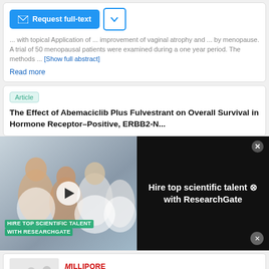... with topical Application of ... improvement of vaginal atrophy and ... by menopause. A trial of 50 menopausal patients were examined during a one year period. The methods ... [Show full abstract]
Read more
Article
The Effect of Abemaciclib Plus Fulvestrant on Overall Survival in Hormone Receptor–Positive, ERBB2-N...
[Figure (photo): Advertisement overlay: A group of scientists in white lab coats taking a selfie in a laboratory, with play button overlaid. Text overlay reads 'HIRE TOP SCIENTIFIC TALENT WITH RESEARCHGATE'. Right side shows dark background with text 'Hire top scientific talent with ResearchGate' and a close button.]
[Figure (photo): MilliporeSigma advertisement showing laboratory equipment/samplers with logo. Text reads 'A Sampler for Every Situation'.]